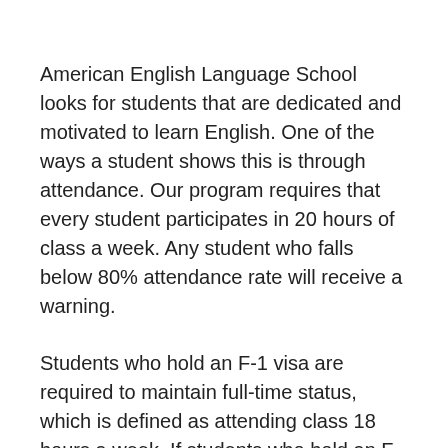American English Language School looks for students that are dedicated and motivated to learn English. One of the ways a student shows this is through attendance. Our program requires that every student participates in 20 hours of class a week. Any student who falls below 80% attendance rate will receive a warning.
Students who hold an F-1 visa are required to maintain full-time status, which is defined as attending class 18 hours a week. If students who hold an F-1 visa fall below the 80% attendance rate, they have the chance of getting their visa revoked. For these reasons, AELS actively promotes that